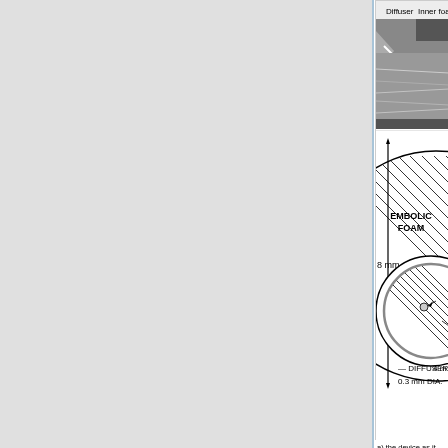[Figure (engineering-diagram): Medical device diagram showing: (top) photograph of device with labels 'Diffuser' and 'Inner foam c...' (cut off); (bottom) cross-sectional engineering schematic of an aneurysm treatment device showing an 8mm outer circle filled with hatched 'EMBOLIC FOAM' pattern, containing an inner circle labeled 'DIFFUSER 0.3 mm DIA.' with an arrow to 'STE...' (cut off) and '4 m...' (cut off). A vertical double-headed arrow indicates the 8 mm dimension.]
a) the device as it was prepared before being co... inserted into the aneurysm, the 'memory' of the s...